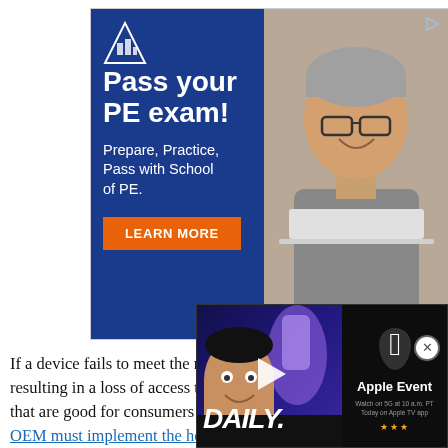[Figure (screenshot): Advertisement banner for School of PE showing 'Pass your PE exam! Prepare, Practice, Pass with School of PE. LEARN MORE' with a photo of a man holding a laptop on a blue background with logo.]
[Figure (screenshot): Video overlay showing 'DAILY.' branding with a person's face and 'Apple Event' text on dark background]
If a device fails to meet the re CDD, then it may fail Google's resulting in a loss of access to applications. The CDD in the pa that are good for consumers — Android 11 outlines how an OEM must implement the home device controls on the power menu if they do implement it. This means that should an Android